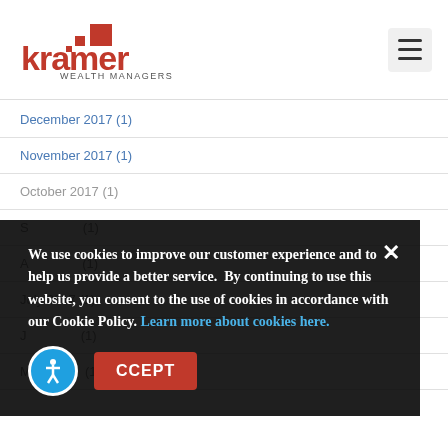[Figure (logo): Kramer Wealth Managers logo with red geometric shapes and text]
December 2017 (1)
November 2017 (1)
October 2017 (1)
September 2017 (1)
August 2017 (1)
July 2017 (1)
June 2017 (1)
May 2017 (1)
March 2017 (1)
We use cookies to improve our customer experience and to help us provide a better service. By continuing to use this website, you consent to the use of cookies in accordance with our Cookie Policy. Learn more about cookies here.
ACCEPT